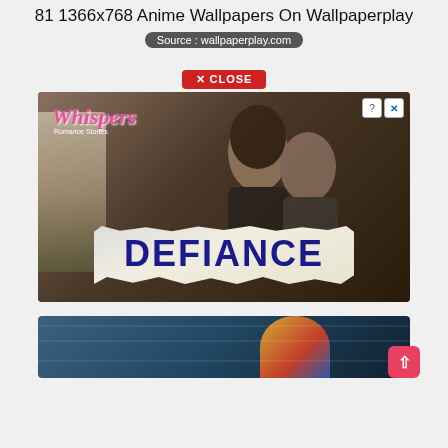81 1366x768 Anime Wallpapers On Wallpaperplay
Source : wallpaperplay.com
✕ CLOSE
[Figure (photo): Advertisement image for 'Whispers Romance Stories' featuring two people in a dramatic romantic pose, with a torn newspaper revealing the word DEFIANCE in large bold blue letters at the bottom. Ad controls (? and X) visible in top right.]
[Figure (photo): Partial view of a second image showing a blue background with colorful elements, partially visible at the bottom of the page. A pink scroll-to-top button is visible in the bottom right corner.]